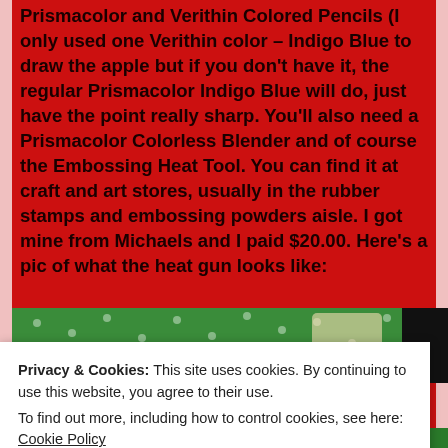Prismacolor and Verithin Colored Pencils (I only used one Verithin color – Indigo Blue to draw the apple but if you don't have it, the regular Prismacolor Indigo Blue will do, just have the point really sharp. You'll also need a Prismacolor Colorless Blender and of course the Embossing Heat Tool. You can find it at craft and art stores, usually in the rubber stamps and embossing powders aisle. I got mine from Michaels and I paid $20.00. Here's a pic of what the heat gun looks like:
[Figure (photo): Photo of a purple Embossing Heat Tool / heat gun lying on a green polka-dot surface with a dark background on the right]
Privacy & Cookies: This site uses cookies. By continuing to use this website, you agree to their use.
To find out more, including how to control cookies, see here: Cookie Policy
Close and accept